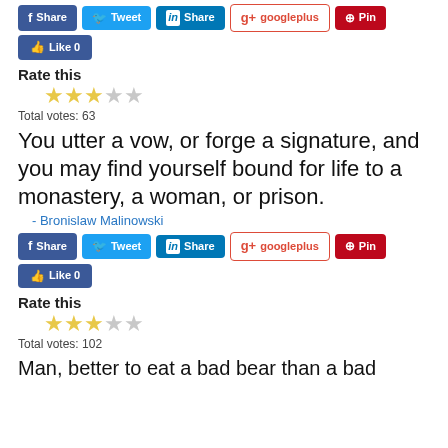[Figure (screenshot): Social sharing buttons row: Facebook Share, Twitter Tweet, LinkedIn Share, Google+ googleplus, Pinterest Pin]
[Figure (screenshot): Facebook Like button with count 0]
Rate this
[Figure (other): Star rating: 3 filled stars out of 5]
Total votes: 63
You utter a vow, or forge a signature, and you may find yourself bound for life to a monastery, a woman, or prison.
- Bronislaw Malinowski
[Figure (screenshot): Social sharing buttons row: Facebook Share, Twitter Tweet, LinkedIn Share, Google+ googleplus, Pinterest Pin]
[Figure (screenshot): Facebook Like button with count 0]
Rate this
[Figure (other): Star rating: 3 filled stars out of 5]
Total votes: 102
Man, better to eat a bad bear than a bad...